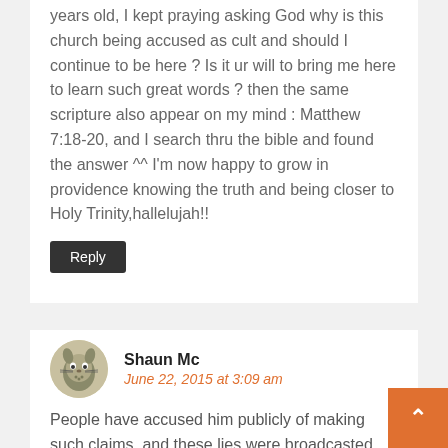years old, I kept praying asking God why is this church being accused as cult and should I continue to be here ? Is it ur will to bring me here to learn such great words ? then the same scripture also appear on my mind : Matthew 7:18-20, and I search thru the bible and found the answer ^^ I'm now happy to grow in providence knowing the truth and being closer to Holy Trinity,hallelujah!!
Reply
Shaun Mc
June 22, 2015 at 3:09 am
People have accused him publicly of making such claims, and these lies were broadcasted over many news outlets so it had become a